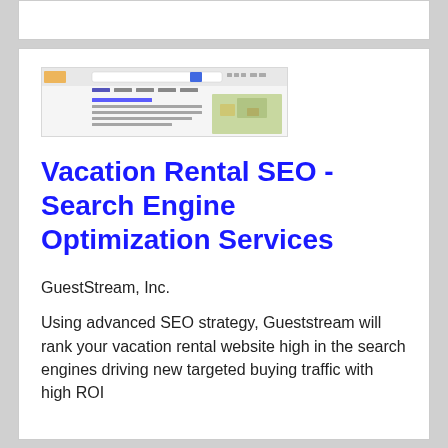[Figure (screenshot): Screenshot of a search engine results page showing vacation rental search results with a map thumbnail on the right side]
Vacation Rental SEO - Search Engine Optimization Services
GuestStream, Inc.
Using advanced SEO strategy, Gueststream will rank your vacation rental website high in the search engines driving new targeted buying traffic with high ROI